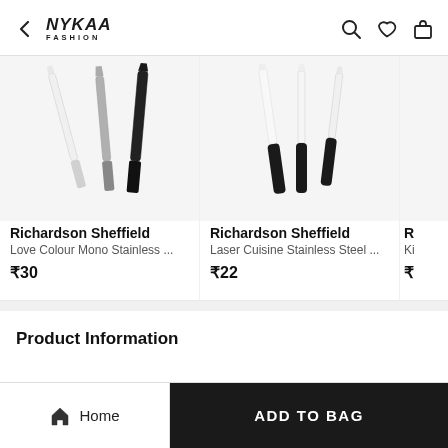Nykaa Fashion — header with back arrow, search, heart, and bag icons
[Figure (photo): Three knives with white, grey, and black blades/handles — Richardson Sheffield Love Colour Mono Stainless product image]
Richardson Sheffield
Love Colour Mono Stainless ...
₹30
[Figure (photo): Three kitchen knives with white blades and black handles — Richardson Sheffield Laser Cuisine Stainless Steel product image]
Richardson Sheffield
Laser Cuisine Stainless Steel ...
₹22
R
Ki
₹
Product Information
Home | ADD TO BAG